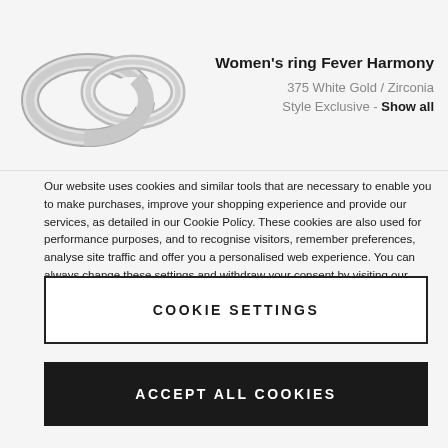[Figure (photo): Two silver/white gold rings overlapping, product photo]
Women's ring Fever Harmony
375 White Gold / Zirconia
Style Exclusive - Show all
Our website uses cookies and similar tools that are necessary to enable you to make purchases, improve your shopping experience and provide our services, as detailed in our Cookie Policy. These cookies are also used for performance purposes, and to recognise visitors, remember preferences, analyse site traffic and offer you a personalised web experience. You can always change these settings and withdraw your consent by visiting our “Cookie Policy”. By clicking on “Accept all cookies”, you agree to the storing of cookies. To learn more about how we process your data, please consult our Privacy Policy.
COOKIE SETTINGS
ACCEPT ALL COOKIES